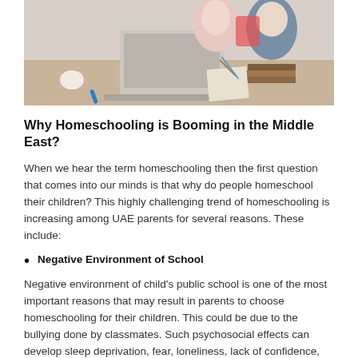[Figure (photo): A woman and a child sitting together at a wooden desk, both looking at a laptop computer. The child appears to be writing, and there are books and school supplies on the desk.]
Why Homeschooling is Booming in the Middle East?
When we hear the term homeschooling then the first question that comes into our minds is that why do people homeschool their children? This highly challenging trend of homeschooling is increasing among UAE parents for several reasons. These include:
Negative Environment of School
Negative environment of child’s public school is one of the most important reasons that may result in parents to choose homeschooling for their children. This could be due to the bullying done by classmates. Such psychosocial effects can develop sleep deprivation, fear, loneliness, lack of confidence, downheartedness or distress in the child’s mind for school. Homeschooling removes psychological torment and the